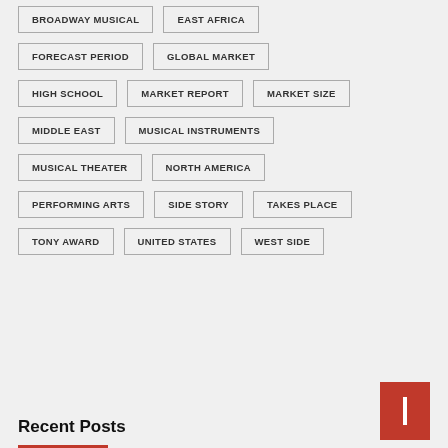BROADWAY MUSICAL
EAST AFRICA
FORECAST PERIOD
GLOBAL MARKET
HIGH SCHOOL
MARKET REPORT
MARKET SIZE
MIDDLE EAST
MUSICAL INSTRUMENTS
MUSICAL THEATER
NORTH AMERICA
PERFORMING ARTS
SIDE STORY
TAKES PLACE
TONY AWARD
UNITED STATES
WEST SIDE
Recent Posts